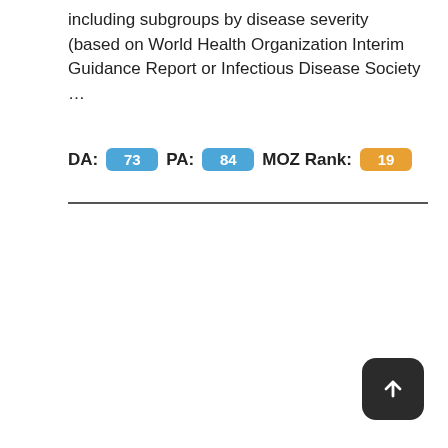including subgroups by disease severity (based on World Health Organization Interim Guidance Report or Infectious Disease Society …
DA: 73 PA: 84 MOZ Rank: 19
[Figure (other): Dark rounded square button with white upward arrow, positioned bottom-right]